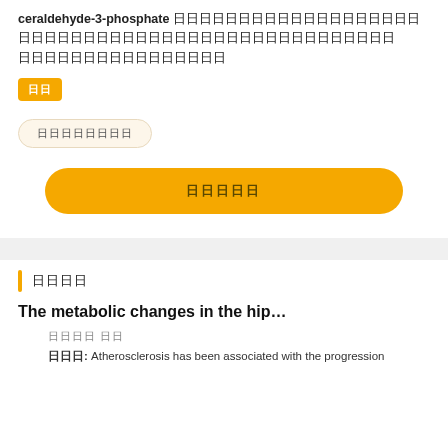ceraldehyde-3-phosphate 日日日日日日日日日日日日日日日日日日日日日日日日日日日日日日日日日日日日日日日日日日日日日日日日 日日日日日日日日日日日日日日日日
日日
日日日日日日日日
日日日日日
日日日日
The metabolic changes in the hip…
日日日日 日日
日日日: Atherosclerosis has been associated with the progression